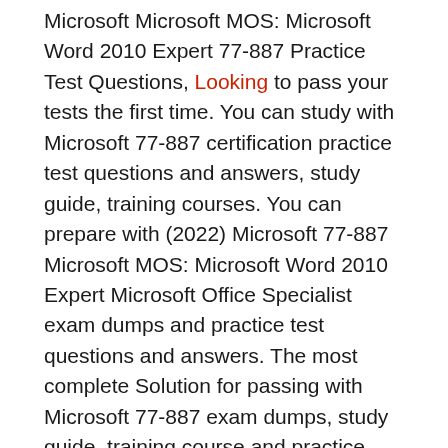Microsoft Microsoft MOS: Microsoft Word 2010 Expert 77-887 Practice Test Questions, Looking to pass your tests the first time. You can study with Microsoft 77-887 certification practice test questions and answers, study guide, training courses. You can prepare with (2022) Microsoft 77-887 Microsoft MOS: Microsoft Word 2010 Expert Microsoft Office Specialist exam dumps and practice test questions and answers. The most complete Solution for passing with Microsoft 77-887 exam dumps, study guide, training course and practice test questions and answers.
You can easily pass 77-887 Microsoft Office Specialist Certification with the help of CertificationsTime online practice exam. At CertificationsTime.com, we are here to help you in clearing your Microsoft 77-887 certification exam. CertificationsTime team of experienced and certified Microsoft professionals with more than 12 years of